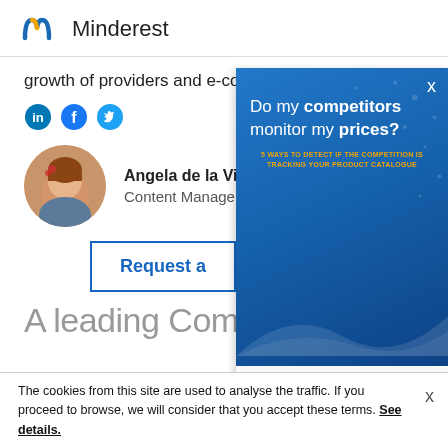[Figure (logo): Minderest logo with stylized M icon in blue and yellow, followed by text 'Minderest']
growth of providers and e-commerce.
[Figure (infographic): Three circular social media icons: LinkedIn (blue), Facebook (blue), Twitter (blue)]
[Figure (photo): Circular avatar photo of Angela de la Vieja, a woman with flowers in her hair]
Angela de la Vieja
Content Manager
Request a
A leading Com
[Figure (infographic): Ad overlay on blue gradient background with text 'Do my competitors monitor my prices?' and subtitle '5 ways to detect if the competition is tracking your product catalogue', with Minderest logo at bottom]
The cookies from this site are used to analyse the traffic. If you proceed to browse, we will consider that you accept these terms. See details.